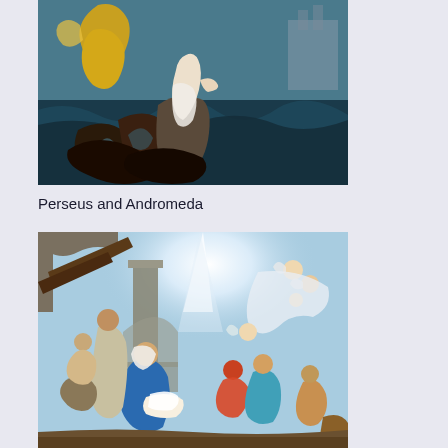[Figure (illustration): Perseus and Andromeda painting: a classical oil painting showing a flying figure in yellow/gold robes descending from above, a pale female figure (Andromeda) chained to rocks amid dark turbulent sea waters and a sea monster below.]
Perseus and Andromeda
[Figure (illustration): Nativity scene painting: a Baroque-style painting showing the adoration of the shepherds/magi, with Mary in blue robes cradling the infant Jesus, surrounded by figures including Joseph, angels in the sky above with a bright star, and various other figures and animals in a stable setting with classical architecture in the background.]